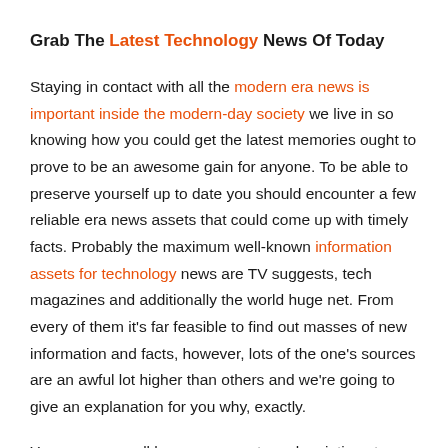Grab The Latest Technology News Of Today
Staying in contact with all the modern era news is important inside the modern-day society we live in so knowing how you could get the latest memories ought to prove to be an awesome gain for anyone. To be able to preserve yourself up to date you should encounter a few reliable era news assets that could come up with timely facts. Probably the maximum well-known information assets for technology news are TV suggests, tech magazines and additionally the world huge net. From every of them it's far feasible to find out masses of new information and facts, however, lots of the one's sources are an awful lot higher than others and we're going to give an explanation for you why, exactly.
You can very well have one or extra subscriptions to a spread of applicable guides however the drawback is the fact that you best get updated as soon as a month or if that is a weekly subscription